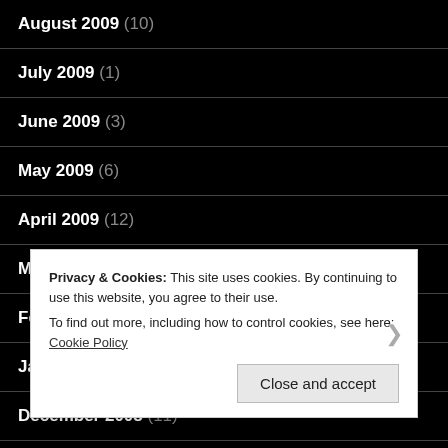August 2009 (10)
July 2009 (1)
June 2009 (3)
May 2009 (6)
April 2009 (12)
March 2009 (14)
February 2009 (8)
January 2009 (14)
December 2008 (11)
Privacy & Cookies: This site uses cookies. By continuing to use this website, you agree to their use.
To find out more, including how to control cookies, see here: Cookie Policy
Close and accept